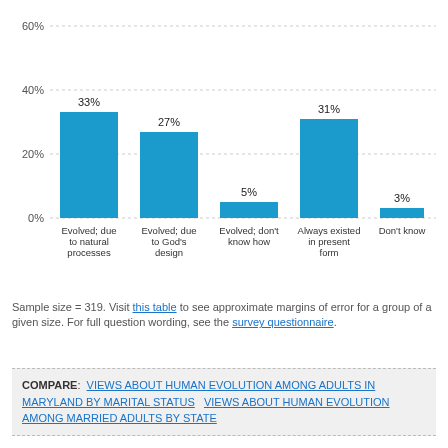[Figure (bar-chart): Views about human evolution among married adults in Maryland]
Sample size = 319. Visit this table to see approximate margins of error for a group of a given size. For full question wording, see the survey questionnaire.
COMPARE: VIEWS ABOUT HUMAN EVOLUTION AMONG ADULTS IN MARYLAND BY MARITAL STATUS   VIEWS ABOUT HUMAN EVOLUTION AMONG MARRIED ADULTS BY STATE